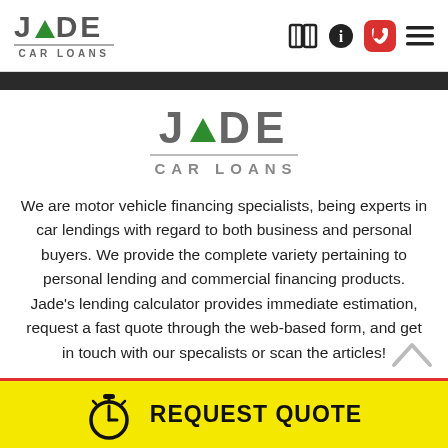[Figure (logo): Jade Car Loans logo with green triangle in header, nav icons (book, info, phone, menu) on right]
[Figure (logo): Jade Car Loans centered logo with green triangle]
We are motor vehicle financing specialists, being experts in car lendings with regard to both business and personal buyers. We provide the complete variety pertaining to personal lending and commercial financing products. Jade's lending calculator provides immediate estimation, request a fast quote through the web-based form, and get in touch with our specalists or scan the articles!
[Figure (other): Yellow REQUEST QUOTE button bar with stopwatch icon and red top border]